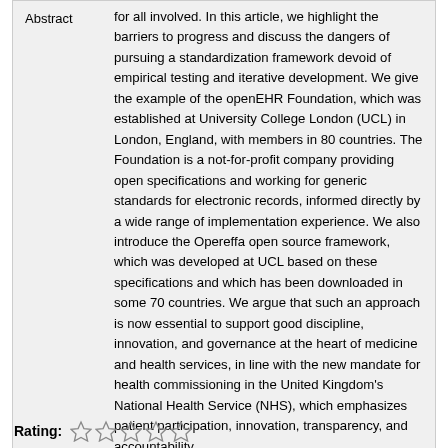for all involved. In this article, we highlight the barriers to progress and discuss the dangers of pursuing a standardization framework devoid of empirical testing and iterative development. We give the example of the openEHR Foundation, which was established at University College London (UCL) in London, England, with members in 80 countries. The Foundation is a not-for-profit company providing open specifications and working for generic standards for electronic records, informed directly by a wide range of implementation experience. We also introduce the Opereffa open source framework, which was developed at UCL based on these specifications and which has been downloaded in some 70 countries. We argue that such an approach is now essential to support good discipline, innovation, and governance at the heart of medicine and health services, in line with the new mandate for health commissioning in the United Kingdom's National Health Service (NHS), which emphasizes patient participation, innovation, transparency, and accountability.
Rating: